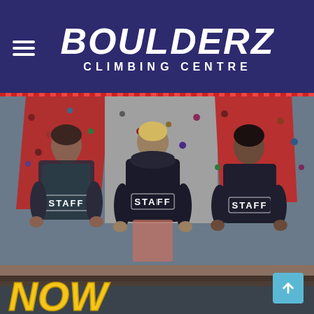[Figure (logo): Boulderz Climbing Centre logo — white bold italic BOULDERZ text over CLIMBING CENTRE subtitle on dark navy/indigo background, with hamburger menu icon on left]
[Figure (photo): Three staff members wearing dark navy jackets labeled STAFF on the back, standing facing colorful climbing walls (red, grey panels with holds). Bottom of image has large yellow 'NOW HIRING' text. A scroll-to-top button appears bottom right.]